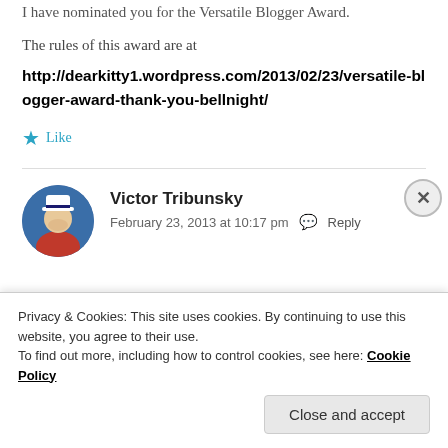I have nominated you for the Versatile Blogger Award.
The rules of this award are at
http://dearkitty1.wordpress.com/2013/02/23/versatile-blogger-award-thank-you-bellnight/
★ Like
Victor Tribunsky
February 23, 2013 at 10:17 pm  Reply
Privacy & Cookies: This site uses cookies. By continuing to use this website, you agree to their use.
To find out more, including how to control cookies, see here: Cookie Policy
Close and accept